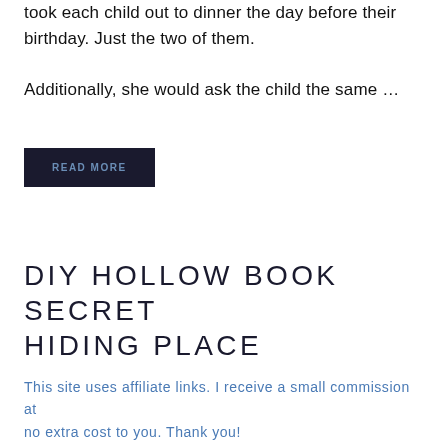took each child out to dinner the day before their birthday. Just the two of them. Additionally, she would ask the child the same …
READ MORE
DIY HOLLOW BOOK SECRET HIDING PLACE
This site uses affiliate links. I receive a small commission at no extra cost to you. Thank you!